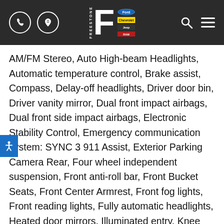Freestone Autoplex header with phone, directions, logo, search and menu icons
AM/FM Stereo, Auto High-beam Headlights, Automatic temperature control, Brake assist, Compass, Delay-off headlights, Driver door bin, Driver vanity mirror, Dual front impact airbags, Dual front side impact airbags, Electronic Stability Control, Emergency communication system: SYNC 3 911 Assist, Exterior Parking Camera Rear, Four wheel independent suspension, Front anti-roll bar, Front Bucket Seats, Front Center Armrest, Front fog lights, Front reading lights, Fully automatic headlights, Heated door mirrors, Illuminated entry, Knee airbag, Low tire pressure warning, Occupant sensing airbag, Outside temperature display, Overhead airbag, Overhead console, Panic alarm, Passenger door bin, Passenger vanity mirror, Power door mirrors, Power steering, Power windows, Radio data system, Rear anti-roll bar, Rear reading lights, Rear seat center armrest,